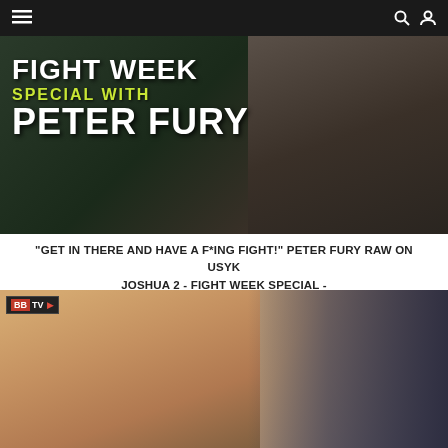≡ (menu icon) | search icon | user icon
[Figure (photo): Promotional image for Fight Week Special with Peter Fury. Text overlay reads 'FIGHT WEEK SPECIAL WITH PETER FURY' with a man in a dark jacket seated in the background.]
“GET IN THERE AND HAVE A F*ING FIGHT!” PETER FURY RAW ON USYK JOSHUA 2 - FIGHT WEEK SPECIAL -
[Figure (photo): Photo of a young man with curly light brown hair smiling in a boxing gym. BBTV logo visible in top left corner. Boxing equipment and gym interior visible in background.]